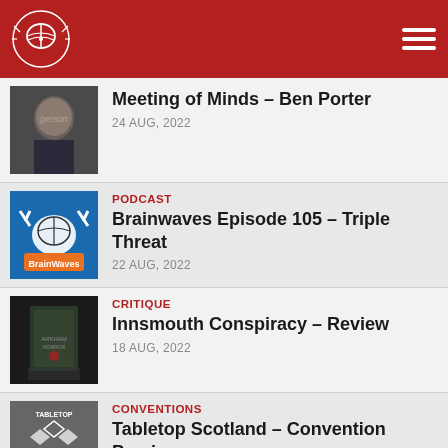Brainwaves website header with logo and navigation menu
Meeting of Minds – Ben Porter | 24 AUG, 2022
PODCAST | Brainwaves Episode 105 – Triple Threat | 22 AUG, 2022
CRITIQUE | Innsmouth Conspiracy – Review | 18 AUG, 2022
CONVENTIONS | Tabletop Scotland – Convention Preview | 11 AUG, 2022
PODCAST / UNCATEGORIZED